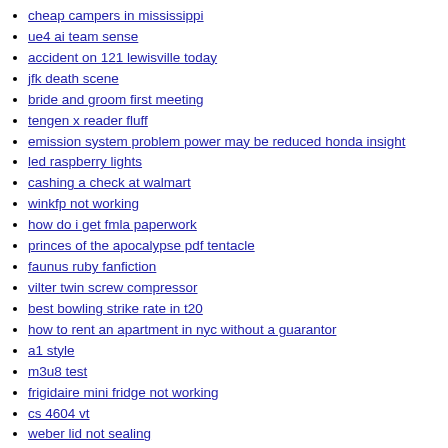cheap campers in mississippi
ue4 ai team sense
accident on 121 lewisville today
jfk death scene
bride and groom first meeting
tengen x reader fluff
emission system problem power may be reduced honda insight
led raspberry lights
cashing a check at walmart
winkfp not working
how do i get fmla paperwork
princes of the apocalypse pdf tentacle
faunus ruby fanfiction
vilter twin screw compressor
best bowling strike rate in t20
how to rent an apartment in nyc without a guarantor
a1 style
m3u8 test
frigidaire mini fridge not working
cs 4604 vt
weber lid not sealing
gmrs groups in my area
hse06 vasp
what is the best anti fouling